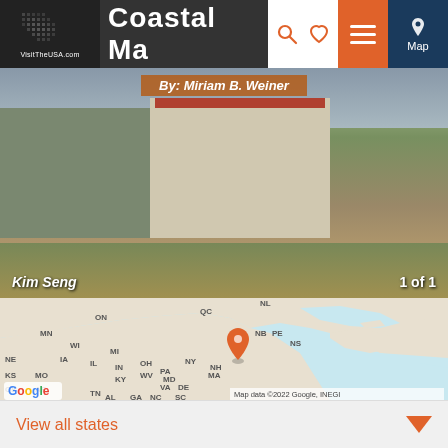VisitTheUSA.com Coastal Maine — By: Miriam B. Weiner
[Figure (photo): Coastal Maine buildings with green siding and red roof, coastal scene with fence]
Kim Seng   1 of 1
[Figure (map): Google Map showing northeastern North America with state/province abbreviations and an orange pin marker over Maine. Map data ©2022 Google, INEGI]
View all states